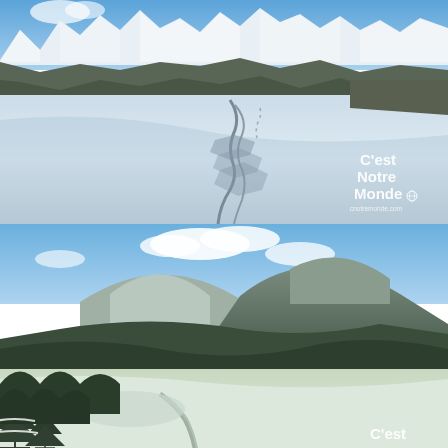[Figure (photo): Aerial winter mountain landscape with snow-covered slopes, a crevasse or avalanche crack running diagonally through the snow, and snow-capped mountain range in the background under blue sky. White overlay text reads 'C'est Notre Monde' with a website URL below.]
[Figure (photo): Winter mountain valley landscape with snow-covered evergreen trees in foreground, a road or frozen river winding through the valley, forested hills, and large rounded mountain peaks under a blue sky with white clouds. Partial white text overlay at bottom right reads 'C'est'.]